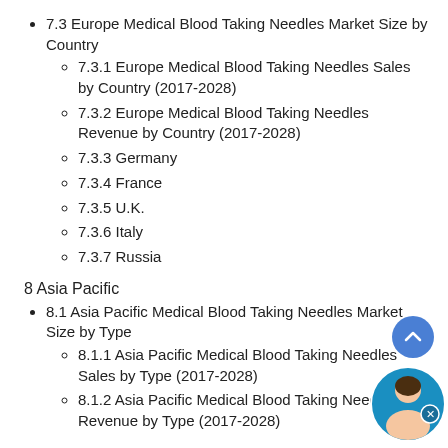7.3 Europe Medical Blood Taking Needles Market Size by Country
7.3.1 Europe Medical Blood Taking Needles Sales by Country (2017-2028)
7.3.2 Europe Medical Blood Taking Needles Revenue by Country (2017-2028)
7.3.3 Germany
7.3.4 France
7.3.5 U.K.
7.3.6 Italy
7.3.7 Russia
8 Asia Pacific
8.1 Asia Pacific Medical Blood Taking Needles Market Size by Type
8.1.1 Asia Pacific Medical Blood Taking Needles Sales by Type (2017-2028)
8.1.2 Asia Pacific Medical Blood Taking Needles Revenue by Type (2017-2028)